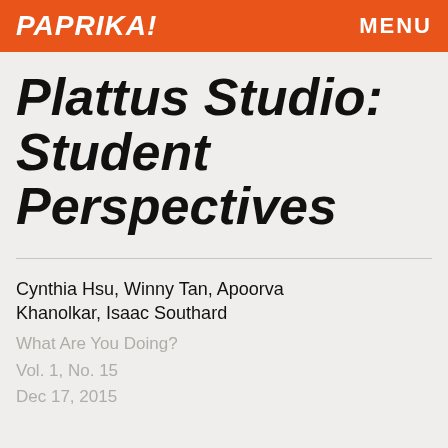PAPRIKA! MENU
Plattus Studio: Student Perspectives
Cynthia Hsu, Winny Tan, Apoorva Khanolkar, Isaac Southard
What Are You Doing?
Vol. 1, No. 15
Dec 17, 2015